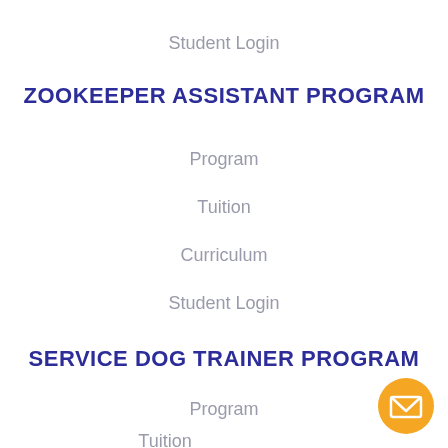Student Login
ZOOKEEPER ASSISTANT PROGRAM
Program
Tuition
Curriculum
Student Login
SERVICE DOG TRAINER PROGRAM
Program
Tuition
[Figure (illustration): Orange circular email button with envelope icon in bottom right corner]